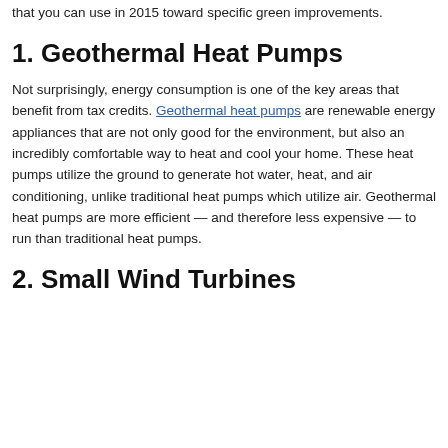been happy to learn that there are multiple green rebates and credits that you can use in 2015 toward specific green improvements.
1. Geothermal Heat Pumps
Not surprisingly, energy consumption is one of the key areas that benefit from tax credits. Geothermal heat pumps are renewable energy appliances that are not only good for the environment, but also an incredibly comfortable way to heat and cool your home. These heat pumps utilize the ground to generate hot water, heat, and air conditioning, unlike traditional heat pumps which utilize air. Geothermal heat pumps are more efficient — and therefore less expensive — to run than traditional heat pumps.
2. Small Wind Turbines